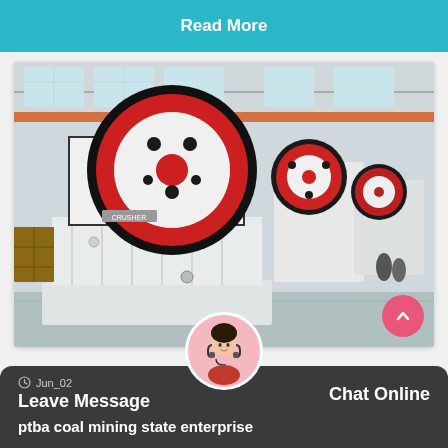Read More
[Figure (photo): Industrial jaw crusher machines lined up in a large factory/warehouse setting. The machines are large, white and black with red circular flywheels. A yellow overhead crane is visible in the background.]
Leave Message
Chat Online
Jun_02
ptba coal mining state enterprise